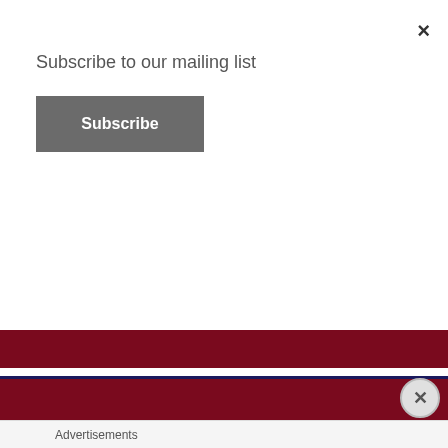×
Subscribe to our mailing list
Subscribe
Search Aipate
Search ...
Filter by Genre
Advertisements